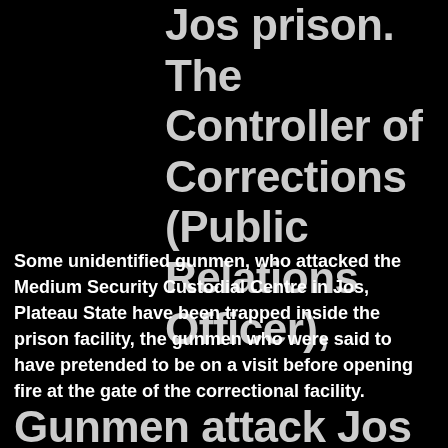Jos prison. The Controller of Corrections (Public Relations Officer),
Some unidentified gunmen, who attacked the Medium Security Custodial Centre in Jos, Plateau State have been trapped inside the prison facility, the gunmen who were said to have pretended to be on a visit before opening fire at the gate of the correctional facility.
Gunmen attack Jos